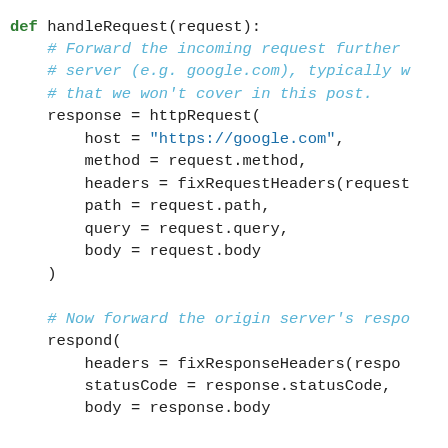[Figure (screenshot): A code snippet showing a Python function handleRequest with comments and httpRequest and respond calls. Comments are in cyan/teal italic, keywords in green bold, string values in blue.]